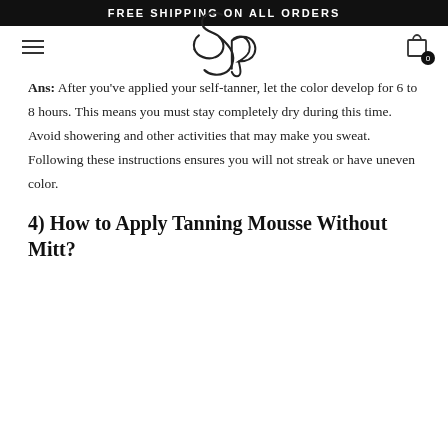FREE SHIPPING ON ALL ORDERS
[Figure (logo): Solrae brand logo in cursive script]
Ans: After you've applied your self-tanner, let the color develop for 6 to 8 hours. This means you must stay completely dry during this time. Avoid showering and other activities that may make you sweat. Following these instructions ensures you will not streak or have uneven color.
4) How to Apply Tanning Mousse Without Mitt?